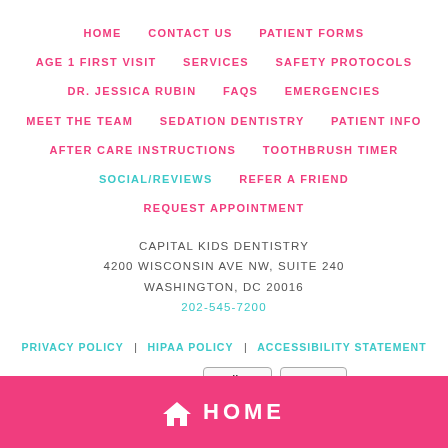HOME    CONTACT US    PATIENT FORMS
AGE 1 FIRST VISIT    SERVICES    SAFETY PROTOCOLS
DR. JESSICA RUBIN    FAQS    EMERGENCIES
MEET THE TEAM    SEDATION DENTISTRY    PATIENT INFO
AFTER CARE INSTRUCTIONS    TOOTHBRUSH TIMER
SOCIAL/REVIEWS    REFER A FRIEND
REQUEST APPOINTMENT
CAPITAL KIDS DENTISTRY
4200 WISCONSIN AVE NW, SUITE 240
WASHINGTON, DC 20016
202-545-7200
PRIVACY POLICY | HIPAA POLICY | ACCESSIBILITY STATEMENT
ACCESSIBILITY  Adjust  Reset
DESIGN AND CONTENT © 2013 - 2022 BY DENTALFONE
HOME